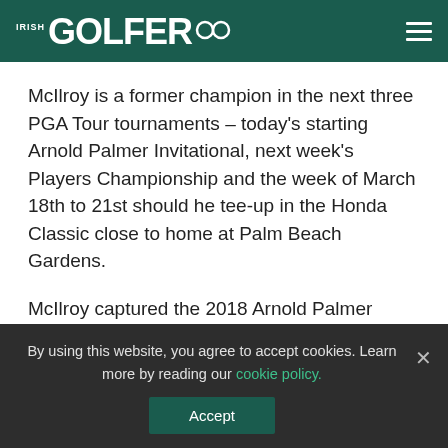IRISH GOLFER
McIlroy is a former champion in the next three PGA Tour tournaments – today's starting Arnold Palmer Invitational, next week's Players Championship and the week of March 18th to 21st should he tee-up in the Honda Classic close to home at Palm Beach Gardens.
McIlroy captured the 2018 Arnold Palmer some 18-months after 'Arnie' passed away on the Sunday prior to the 2016 Ryder Cup. He is the reigning Players Champion given last year's event was cancelled mid-evening of the first round of 12th March, 2020 due to the Covid-19
By using this website, you agree to accept cookies. Learn more by reading our cookie policy.
Accept